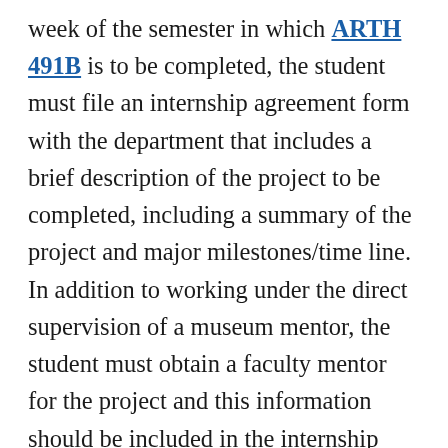week of the semester in which ARTH 491B is to be completed, the student must file an internship agreement form with the department that includes a brief description of the project to be completed, including a summary of the project and major milestones/time line. In addition to working under the direct supervision of a museum mentor, the student must obtain a faculty mentor for the project and this information should be included in the internship agreement form. Students must file a mid-term and final report describing their duties and responsibilities and a self-assessment of their performance and a final portfolio with a fi↑ version of their project as well as examples of drafts and feedback received in the course of